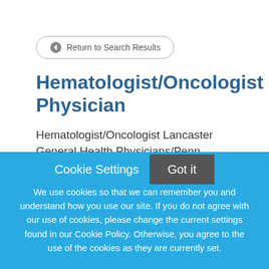Return to Search Results
Hematologist/Oncologist Physician
Hematologist/Oncologist Lancaster General Health Physicians/Penn Medicine Hematology & Oncology is
Cookie Settings
Got it
We use cookies so that we can remember you and understand how you use our site. If you do not agree with our use of cookies, please change the current settings found in our Cookie Policy. Otherwise, you agree to the use of the cookies as they are currently set.